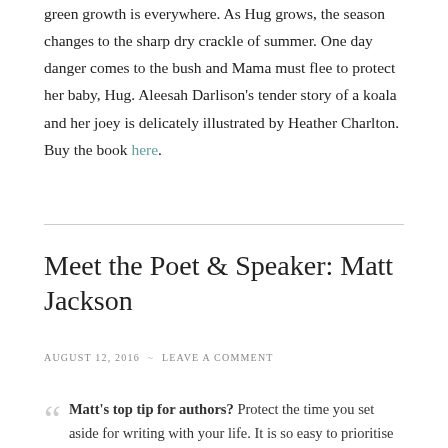green growth is everywhere. As Hug grows, the season changes to the sharp dry crackle of summer. One day danger comes to the bush and Mama must flee to protect her baby, Hug. Aleesah Darlison's tender story of a koala and her joey is delicately illustrated by Heather Charlton. Buy the book here.
Meet the Poet & Speaker: Matt Jackson
AUGUST 12, 2016 ~ LEAVE A COMMENT
Matt's top tip for authors? Protect the time you set aside for writing with your life. It is so easy to prioritise